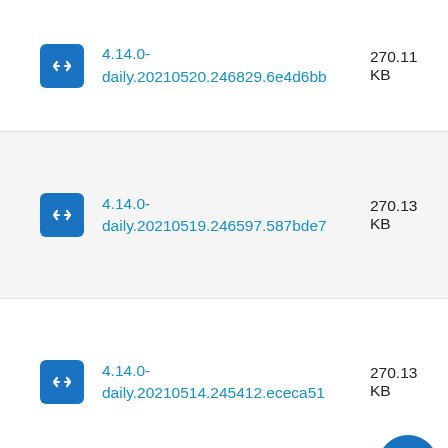4.14.0-daily.20210520.246829.6e4d6bb  270.11 KB
4.14.0-daily.20210519.246597.587bde7  270.13 KB
4.14.0-daily.20210514.245412.ececa51  270.13 KB
4.14.0-  270.12